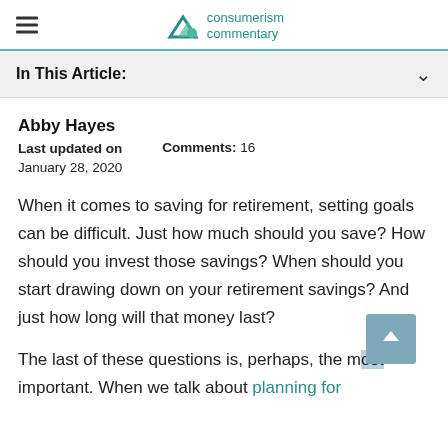consumerism commentary
In This Article:
Abby Hayes
Last updated on January 28, 2020
Comments: 16
When it comes to saving for retirement, setting goals can be difficult. Just how much should you save? How should you invest those savings? When should you start drawing down on your retirement savings? And just how long will that money last?
The last of these questions is, perhaps, the most important. When we talk about planning for